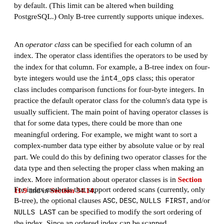by default. (This limit can be altered when building PostgreSQL.) Only B-tree currently supports unique indexes.
An operator class can be specified for each column of an index. The operator class identifies the operators to be used by the index for that column. For example, a B-tree index on four-byte integers would use the int4_ops class; this operator class includes comparison functions for four-byte integers. In practice the default operator class for the column's data type is usually sufficient. The main point of having operator classes is that for some data types, there could be more than one meaningful ordering. For example, we might want to sort a complex-number data type either by absolute value or by real part. We could do this by defining two operator classes for the data type and then selecting the proper class when making an index. More information about operator classes is in Section 11.9 and in Section 34.14.
For index methods that support ordered scans (currently, only B-tree), the optional clauses ASC, DESC, NULLS FIRST, and/or NULLS LAST can be specified to modify the sort ordering of the index. Since an ordered index can be scanned